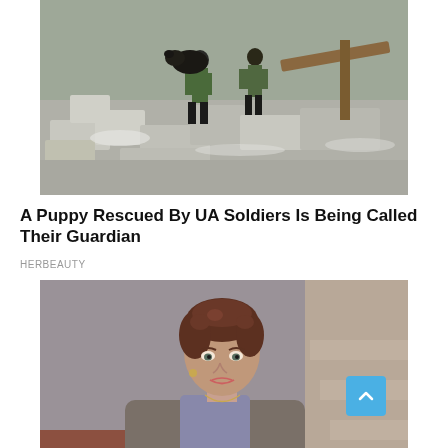[Figure (photo): A puppy and Ukrainian soldiers on a pile of rubble/debris from destroyed concrete blocks, military scene]
A Puppy Rescued By UA Soldiers Is Being Called Their Guardian
HERBEAUTY
[Figure (photo): A woman with short curly brown hair, wearing a grey/brown cardigan over a purple top, looking at camera with neutral expression, indoor background]
6 TV Characters Whose Departures Have